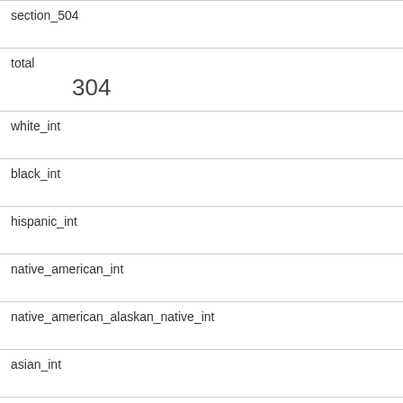| section_504 |
| total | 304 |
| white_int |
| black_int |
| hispanic_int |
| native_american_int |
| native_american_alaskan_native_int |
| asian_int |
| native_hawaiian_int |
| asian_pacific_islander_int |